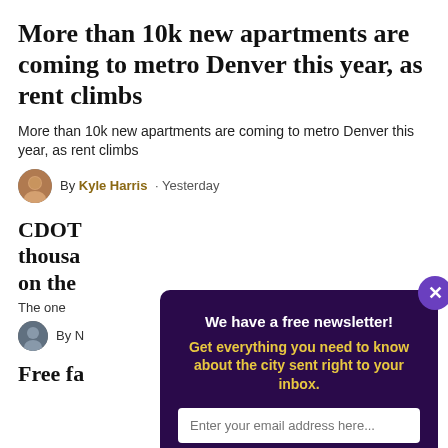More than 10k new apartments are coming to metro Denver this year, as rent climbs
More than 10k new apartments are coming to metro Denver this year, as rent climbs
By Kyle Harris · Yesterday
CDOT thousa on the
The one
By N
Free fa
[Figure (screenshot): Newsletter signup popup with dark purple background. Title: 'We have a free newsletter!' Subtitle in yellow: 'Get everything you need to know about the city sent right to your inbox.' Email input field and yellow 'Sign me up!' button. Purple X close button in top right corner.]